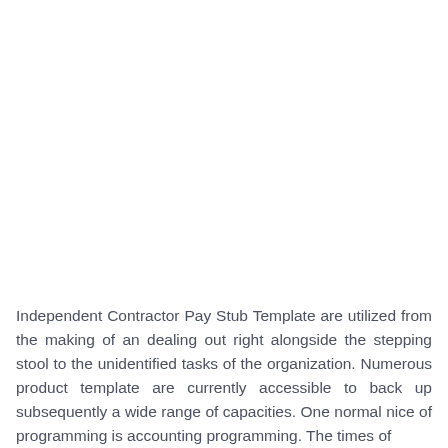Independent Contractor Pay Stub Template are utilized from the making of an dealing out right alongside the stepping stool to the unidentified tasks of the organization. Numerous product template are currently accessible to back up subsequently a wide range of capacities. One normal nice of programming is accounting programming. The times of